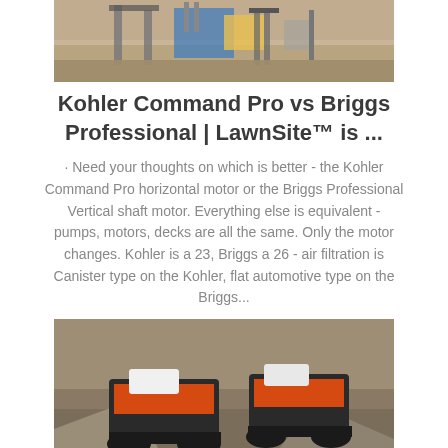[Figure (photo): Construction or drilling machinery on sandy/dirt ground, partial view at top of page]
Kohler Command Pro vs Briggs Professional | LawnSite™ is ...
· Need your thoughts on which is better - the Kohler Command Pro horizontal motor or the Briggs Professional Vertical shaft motor. Everything else is equivalent - pumps, motors, decks are all the same. Only the motor changes. Kohler is a 23, Briggs a 26 - air filtration is Canister type on the Kohler, flat automotive type on the Briggs...
[Figure (photo): Orange and black crawler/tracked crushing machines working in a rocky quarry or gravel site]